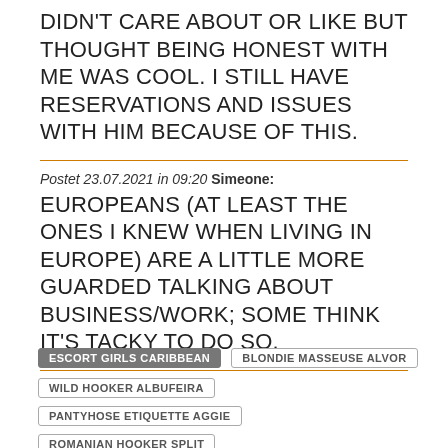DIDN'T CARE ABOUT OR LIKE BUT THOUGHT BEING HONEST WITH ME WAS COOL. I STILL HAVE RESERVATIONS AND ISSUES WITH HIM BECAUSE OF THIS.
Postet 23.07.2021 in 09:20 Simeone: EUROPEANS (AT LEAST THE ONES I KNEW WHEN LIVING IN EUROPE) ARE A LITTLE MORE GUARDED TALKING ABOUT BUSINESS/WORK; SOME THINK IT'S TACKY TO DO SO.
ESCORT GIRLS CARIBBEAN
BLONDIE MASSEUSE ALVOR
WILD HOOKER ALBUFEIRA
PANTYHOSE ETIQUETTE AGGIE
ROMANIAN HOOKER SPLIT
GEORGIAN ESCORT GIRL ALAJUELA